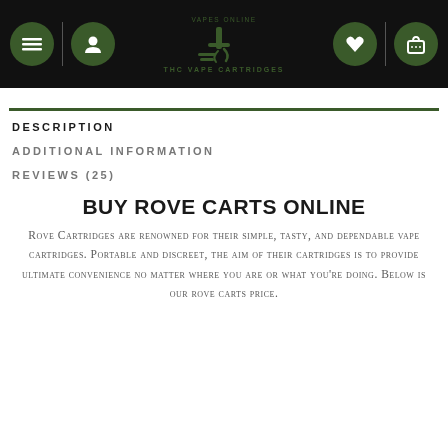THC VAPE CARTRIDGES
DESCRIPTION
ADDITIONAL INFORMATION
REVIEWS (25)
BUY ROVE CARTS ONLINE
Rove Cartridges are renowned for their simple, tasty, and dependable vape cartridges. Portable and discreet, the aim of their cartridges is to provide ultimate convenience no matter where you are or what you're doing. Below is our rove carts price.